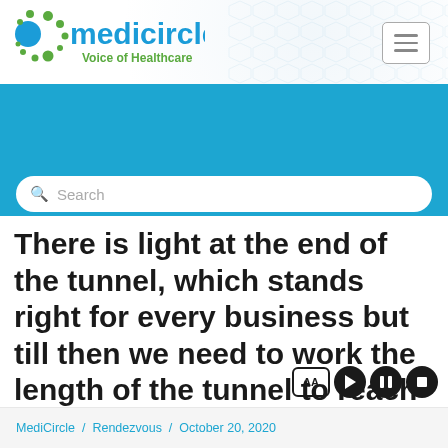[Figure (logo): Medicircle - Voice of Healthcare logo with blue and green circle dots]
[Figure (screenshot): Navigation bar with search box and menu links: Advertise, Subscribe, Career, MediCircle TV, Audio Podcasts, Download App, Language]
There is light at the end of the tunnel, which stands right for every business but till then we need to work the length of the tunnel to reach our goals says Dr. C. Omprakash Ph.D., Technical Director & Partner, Vyomus C...
MediCircle / Rendezvous / October 20, 2020